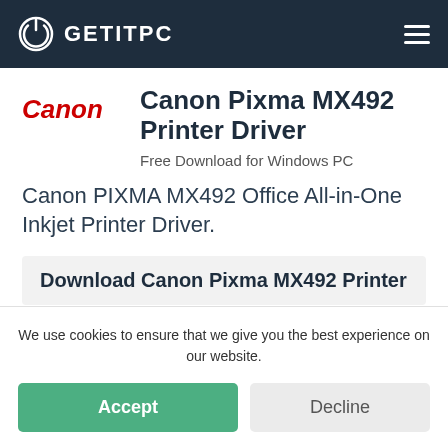GETITPC
Canon Pixma MX492 Printer Driver
Free Download for Windows PC
Canon PIXMA MX492 Office All-in-One Inkjet Printer Driver.
Download Canon Pixma MX492 Printer
We use cookies to ensure that we give you the best experience on our website.